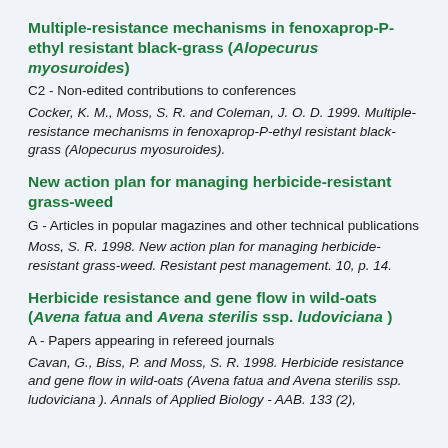Multiple-resistance mechanisms in fenoxaprop-P-ethyl resistant black-grass (Alopecurus myosuroides)
C2 - Non-edited contributions to conferences
Cocker, K. M., Moss, S. R. and Coleman, J. O. D. 1999. Multiple-resistance mechanisms in fenoxaprop-P-ethyl resistant black-grass (Alopecurus myosuroides).
New action plan for managing herbicide-resistant grass-weed
G - Articles in popular magazines and other technical publications
Moss, S. R. 1998. New action plan for managing herbicide-resistant grass-weed. Resistant pest management. 10, p. 14.
Herbicide resistance and gene flow in wild-oats (Avena fatua and Avena sterilis ssp. ludoviciana )
A - Papers appearing in refereed journals
Cavan, G., Biss, P. and Moss, S. R. 1998. Herbicide resistance and gene flow in wild-oats (Avena fatua and Avena sterilis ssp. ludoviciana ). Annals of Applied Biology - AAB. 133 (2),